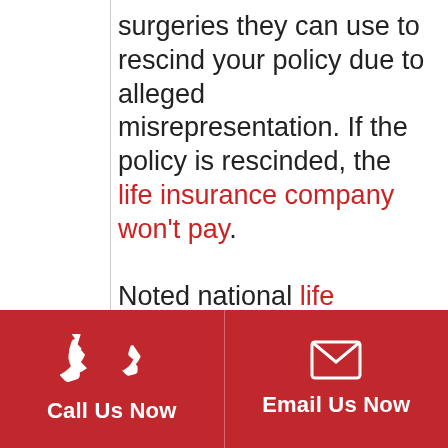surgeries they can use to rescind your policy due to alleged misrepresentation. If the policy is rescinded, the life insurance company won't pay. Noted national life insurance lawyer
[Figure (infographic): Red footer bar with two sections: a phone icon and 'Call Us Now' on the left, an envelope icon and 'Email Us Now' on the right.]